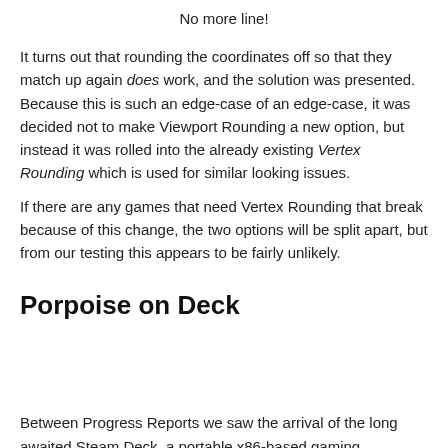No more line!
It turns out that rounding the coordinates off so that they match up again does work, and the solution was presented. Because this is such an edge-case of an edge-case, it was decided not to make Viewport Rounding a new option, but instead it was rolled into the already existing Vertex Rounding which is used for similar looking issues.
If there are any games that need Vertex Rounding that break because of this change, the two options will be split apart, but from our testing this appears to be fairly unlikely.
Porpoise on Deck
Between Progress Reports we saw the arrival of the long awaited Steam Deck, a portable x86-based gaming PC/console hybrid from